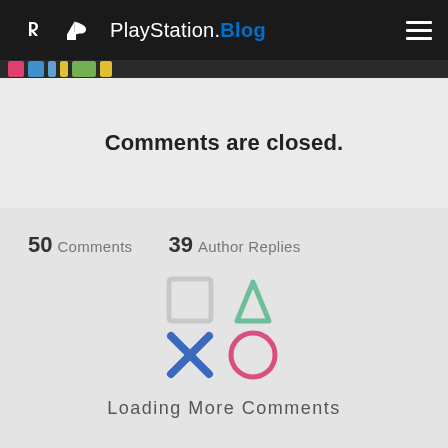PlayStation.Blog
[Figure (illustration): Partial colorful image strip visible below header]
Comments are closed.
50 Comments   39 Author Replies
[Figure (logo): PlayStation controller button symbols: square, triangle, X, circle]
Loading More Comments